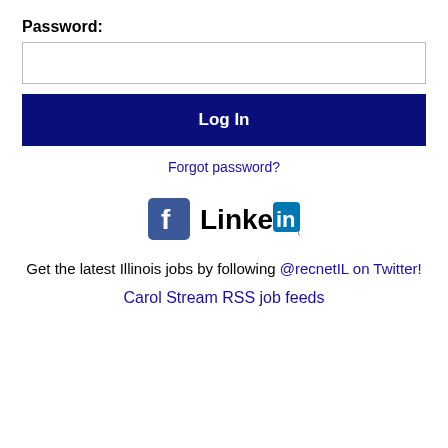Password:
[Figure (screenshot): Password text input box (empty)]
Log In
Forgot password?
[Figure (logo): Facebook and LinkedIn social media icons side by side]
Get the latest Illinois jobs by following @recnetIL on Twitter!
Carol Stream RSS job feeds